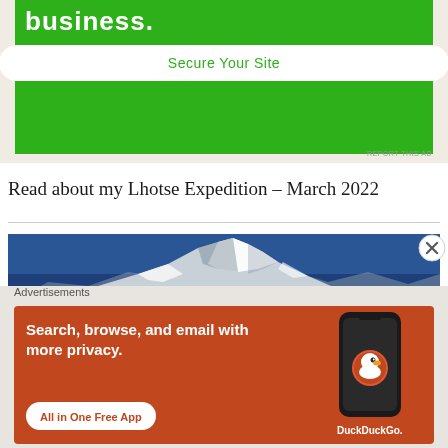[Figure (screenshot): Green advertisement banner with 'business.' text and 'Secure Your Site' button]
REPORT THIS AD
Read about my Lhotse Expedition – March 2022
[Figure (photo): Snow-capped mountain range (Lhotse) against blue sky]
Advertisements
[Figure (screenshot): DuckDuckGo advertisement: Search, browse, and email with more privacy. All in One Free App. Shows phone with DuckDuckGo logo.]